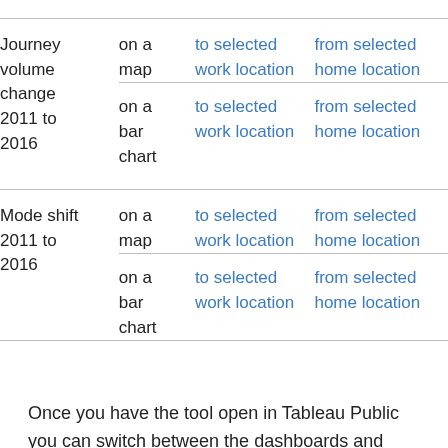|  |  |  |  |
| --- | --- | --- | --- |
| Journey volume change 2011 to 2016 | on a map | to selected work location | from selected home location |
|  | on a bar chart | to selected work location | from selected home location |
| Mode shift 2011 to 2016 | on a map | to selected work location | from selected home location |
|  | on a bar chart | to selected work location | from selected home location |
Once you have the tool open in Tableau Public you can switch between the dashboards and worksheets with the